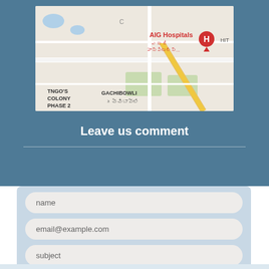[Figure (map): Google Maps screenshot showing AIG Hospitals location in Gachibowli area, Hyderabad. Shows TNGO'S COLONY PHASE 2 on the left, GACHIBOWLI in the center, and AIG Hospitals marker (red H icon) on the right with text in Telugu script.]
Leave us comment
name
email@example.com
subject
message